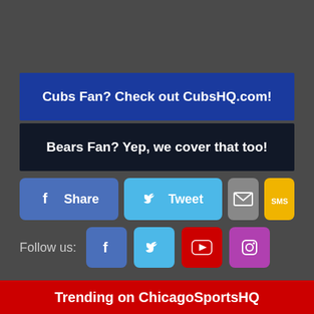Cubs Fan? Check out CubsHQ.com!
Bears Fan? Yep, we cover that too!
[Figure (infographic): Social sharing buttons row: Facebook Share, Twitter Tweet, Email, SMS]
[Figure (infographic): Follow us row with Facebook, Twitter, YouTube, Instagram icons]
Trending on ChicagoSportsHQ